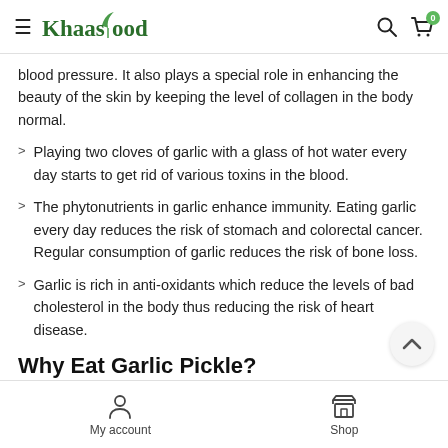Khaas Food
blood pressure. It also plays a special role in enhancing the beauty of the skin by keeping the level of collagen in the body normal.
Playing two cloves of garlic with a glass of hot water every day starts to get rid of various toxins in the blood.
The phytonutrients in garlic enhance immunity. Eating garlic every day reduces the risk of stomach and colorectal cancer. Regular consumption of garlic reduces the risk of bone loss.
Garlic is rich in anti-oxidants which reduce the levels of bad cholesterol in the body thus reducing the risk of heart disease.
Why Eat Garlic Pickle?
One hundred percent pure.
My account   Shop